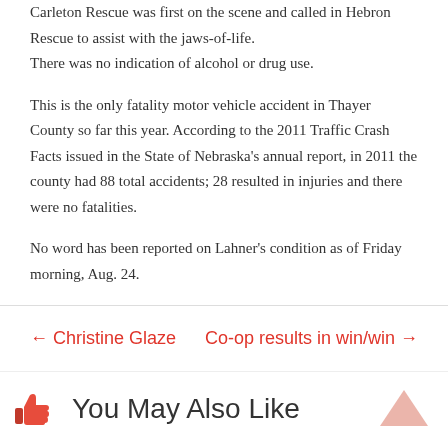Carleton Rescue was first on the scene and called in Hebron Rescue to assist with the jaws-of-life. There was no indication of alcohol or drug use.
This is the only fatality motor vehicle accident in Thayer County so far this year. According to the 2011 Traffic Crash Facts issued in the State of Nebraska's annual report, in 2011 the county had 88 total accidents; 28 resulted in injuries and there were no fatalities.
No word has been reported on Lahner's condition as of Friday morning, Aug. 24.
← Christine Glaze
Co-op results in win/win →
You May Also Like